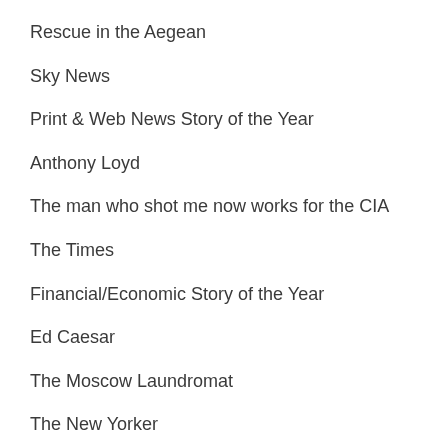Rescue in the Aegean
Sky News
Print & Web News Story of the Year
Anthony Loyd
The man who shot me now works for the CIA
The Times
Financial/Economic Story of the Year
Ed Caesar
The Moscow Laundromat
The New Yorker